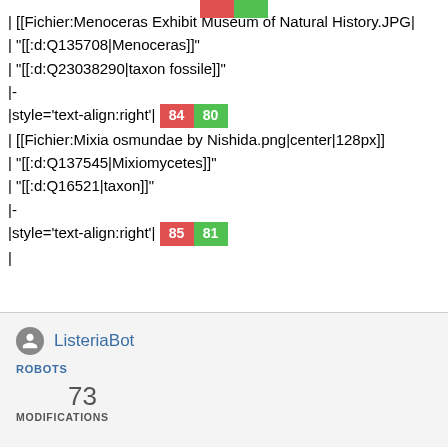| [[Fichier:Menoceras Exhibit Museum of Natural History.JPG|
| "[[:d:Q135708|Menoceras]]"
| "[[:d:Q23038290|taxon fossile]]"
|-
|style='text-align:right'| 8480
| [[Fichier:Mixia osmundae by Nishida.png|center|128px]]
| "[[:d:Q137545|Mixiomycetes]]"
| "[[:d:Q16521|taxon]]"
|-
|style='text-align:right'| 8581
|
ListeriaBot
ROBOTS
73
MODIFICATIONS